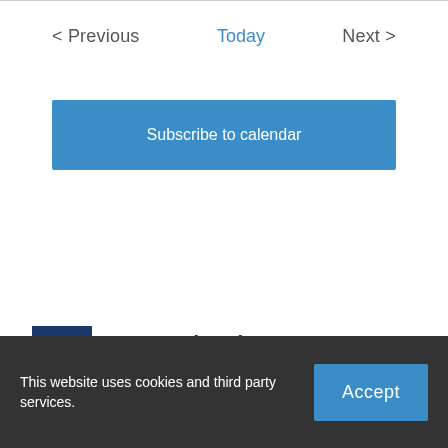< Previous   Today   Next >
Subscribe to calendar
[Figure (logo): Mount Aloysius College logo: blue square with white building/chapel icon, next to blue text reading Mount Aloysius College]
7575 Admiral Peary Highway
(814) 886-6630-1999
This website uses cookies and third party services.
Accept